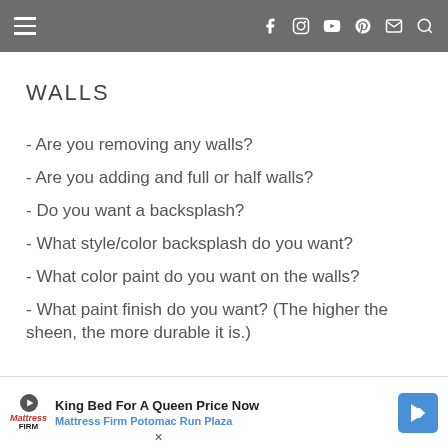Navigation bar with hamburger menu and social icons (Facebook, Instagram, YouTube, Pinterest, Email, Search)
WALLS
- Are you removing any walls?
- Are you adding and full or half walls?
- Do you want a backsplash?
- What style/color backsplash do you want?
- What color paint do you want on the walls?
- What paint finish do you want? (The higher the sheen, the more durable it is.)
King Bed For A Queen Price Now | Mattress Firm Potomac Run Plaza